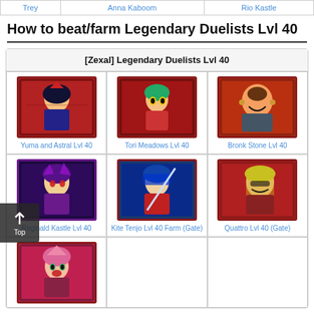| Trey | Anna Kaboom | Rio Kastle |
| --- | --- | --- |
|  |
How to beat/farm Legendary Duelists Lvl 40
| [Zexal] Legendary Duelists Lvl 40 |
| --- |
| Yuma and Astral Lvl 40 | Tori Meadows Lvl 40 | Bronk Stone Lvl 40 |
| Reginald Kastle Lvl 40 | Kite Tenjo Lvl 40 Farm (Gate) | Quattro Lvl 40 (Gate) |
| (partial) |  |  |
[Figure (illustration): Character card image: Yuma and Astral]
[Figure (illustration): Character card image: Tori Meadows]
[Figure (illustration): Character card image: Bronk Stone]
[Figure (illustration): Character card image: Reginald Kastle]
[Figure (illustration): Character card image: Kite Tenjo]
[Figure (illustration): Character card image: Quattro]
[Figure (illustration): Character card image: partial bottom character]